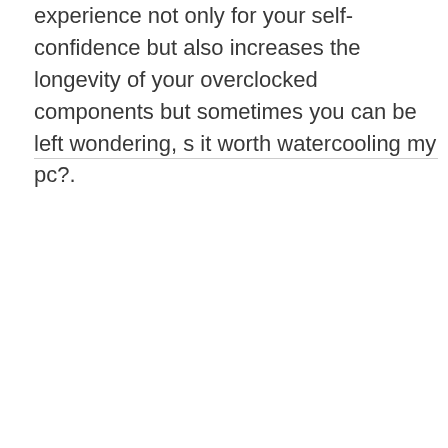experience not only for your self-confidence but also increases the longevity of your overclocked components but sometimes you can be left wondering, s it worth watercooling my pc?.